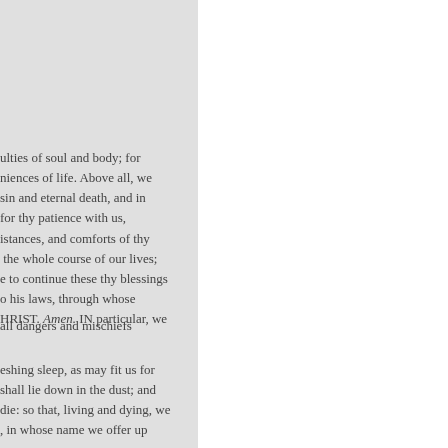ulties of soul and body; for niences of life. Above all, we sin and eternal death, and in for thy patience with us, istances, and comforts of thy the whole course of our lives; e to continue these thy blessings o his laws, through whose HRIST. Amen. IN particular, we
all dangers and mischiefs
eshing sleep, as may fit us for shall lie down in the dust; and die: so that, living and dying, we , in whose name we offer up